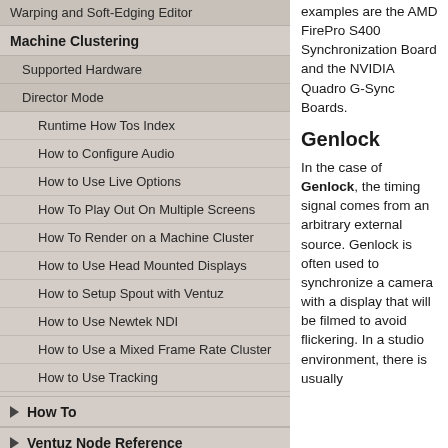Warping and Soft-Edging Editor
Machine Clustering
Supported Hardware
Director Mode
Runtime How Tos Index
How to Configure Audio
How to Use Live Options
How To Play Out On Multiple Screens
How To Render on a Machine Cluster
How to Use Head Mounted Displays
How to Setup Spout with Ventuz
How to Use Newtek NDI
How to Use a Mixed Frame Rate Cluster
How to Use Tracking
How To
Ventuz Node Reference
examples are the AMD FirePro S400 Synchronization Board and the NVIDIA Quadro G-Sync Boards.
Genlock
In the case of Genlock, the timing signal comes from an arbitrary external source. Genlock is often used to synchronize a camera with a display that will be filmed to avoid flickering. In a studio environment, there is usually